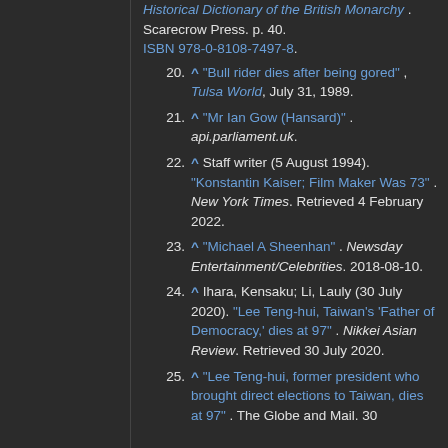Historical Dictionary of the British Monarchy . Scarecrow Press. p. 40. ISBN 978-0-8108-7497-8.
20. ^ "Bull rider dies after being gored" , Tulsa World, July 31, 1989.
21. ^ "Mr Ian Gow (Hansard)" . api.parliament.uk.
22. ^ Staff writer (5 August 1994). "Konstantin Kaiser; Film Maker Was 73" . New York Times. Retrieved 4 February 2022.
23. ^ "Michael A Sheenhan" . Newsday Entertainment/Celebrities. 2018-08-10.
24. ^ Ihara, Kensaku; Li, Lauly (30 July 2020). "Lee Teng-hui, Taiwan's 'Father of Democracy,' dies at 97" . Nikkei Asian Review. Retrieved 30 July 2020.
25. ^ "Lee Teng-hui, former president who brought direct elections to Taiwan, dies at 97" . The Globe and Mail. 30 July 2020. Retrieved 30 July 2020.